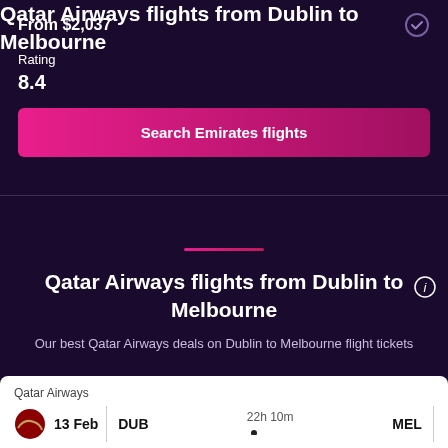From $2,037
Rating
8.4
Search Emirates flights
Qatar Airways flights from Dublin to Melbourne
Our best Qatar Airways deals on Dublin to Melbourne flight tickets
Qatar Airways
13 Feb
DUB
22h 10m
MEL